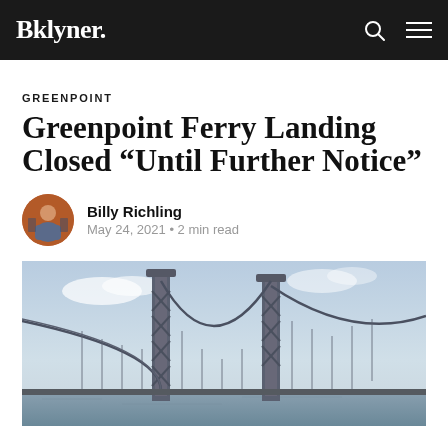Bklyner.
GREENPOINT
Greenpoint Ferry Landing Closed “Until Further Notice”
Billy Richling
May 24, 2021 • 2 min read
[Figure (photo): Photo of the Williamsburg Bridge steel tower and cables against a partly cloudy sky, taken from water level]